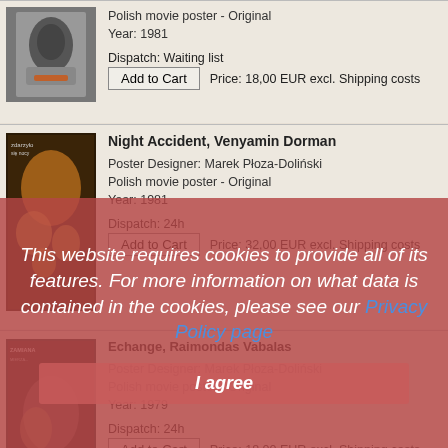[Figure (photo): Thumbnail of a Polish movie poster showing a person]
Polish movie poster - Original
Year: 1981

Dispatch: Waiting list
Add to Cart   Price: 18,00 EUR excl. Shipping costs
[Figure (photo): Thumbnail of a Polish movie poster - Night Accident]
Night Accident, Venyamin Dorman
Poster Designer: Marek Płoza-Doliński
Polish movie poster - Original
Year: 1981

Dispatch: 24h
Add to Cart   Price: 32,00 EUR excl. Shipping costs
[Figure (screenshot): Cookie consent overlay: This website requires cookies to provide all of its features. For more information on what data is contained in the cookies, please see our Privacy Policy page. I agree button.]
[Figure (photo): Thumbnail of a Polish movie poster - Echange/Zamiana]
Echange, Raimondas Vabalas
Poster Designer: Marek Płoza-Doliński
Polish movie poster - Original
Year: 1979

Dispatch: 24h
Add to Cart   Price: 18,00 EUR excl. Shipping costs